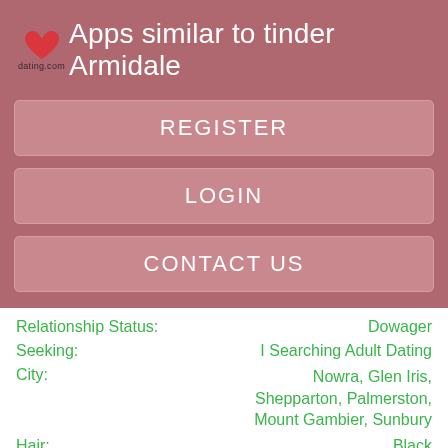Apps similar to tinder Armidale
REGISTER
LOGIN
CONTACT US
Relationship Status: Dowager
Seeking: I Searching Adult Dating
City: Nowra, Glen Iris, Shepparton, Palmerston, Mount Gambier, Sunbury
Hair: Black